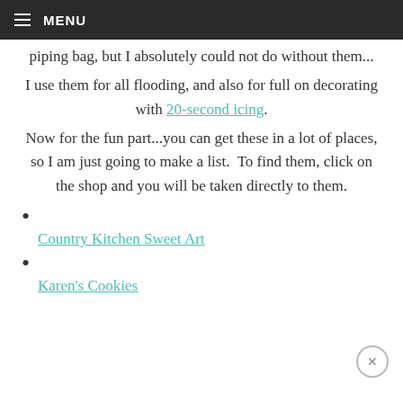MENU
piping bag, but I absolutely could not do without them...
I use them for all flooding, and also for full on decorating with 20-second icing.
Now for the fun part...you can get these in a lot of places, so I am just going to make a list.  To find them, click on the shop and you will be taken directly to them.
Country Kitchen Sweet Art
Karen's Cookies